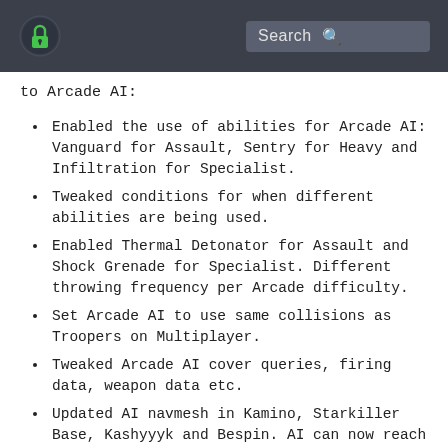[Logo] Search
to Arcade AI:
Enabled the use of abilities for Arcade AI: Vanguard for Assault, Sentry for Heavy and Infiltration for Specialist.
Tweaked conditions for when different abilities are being used.
Enabled Thermal Detonator for Assault and Shock Grenade for Specialist. Different throwing frequency per Arcade difficulty.
Set Arcade AI to use same collisions as Troopers on Multiplayer.
Tweaked Arcade AI cover queries, firing data, weapon data etc.
Updated AI navmesh in Kamino, Starkiller Base, Kashyyyk and Bespin. AI can now reach areas that were previously inaccessible for AI